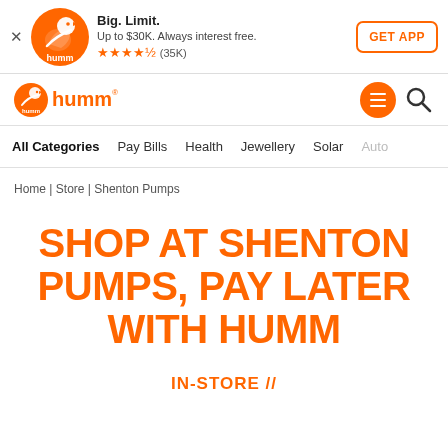[Figure (logo): Humm app banner with orange bird logo, 'Big. Limit.' text, 'Up to $30K. Always interest free.', star rating (35K), and GET APP button]
[Figure (logo): Humm logo in navbar with hamburger menu and search icon]
All Categories | Pay Bills | Health | Jewellery | Solar | Auto
Home | Store | Shenton Pumps
SHOP AT SHENTON PUMPS, PAY LATER WITH HUMM
IN-STORE //